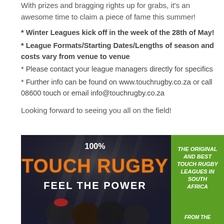With prizes and bragging rights up for grabs, it's an awesome time to claim a piece of fame this summer!
* Winter Leagues kick off in the week of the 28th of May!
* League Formats/Starting Dates/Lengths of season and costs vary from venue to venue
* Please contact your league managers directly for specifics
* Further info can be found on www.touchrugby.co.za or call 08600 touch or email info@touchrugby.co.za
Looking forward to seeing you all on the field!
[Figure (photo): Touch Rugby advertisement: dark background with players, '100% TOUCH RUGBY FEEL THE POWER' in orange/yellow text on left, and green panel on right with white italic text 'THE ORIGINAL AND BEST TOUCH RUGBY LEAGUES IN SOUTH AFRICA FROM THE']